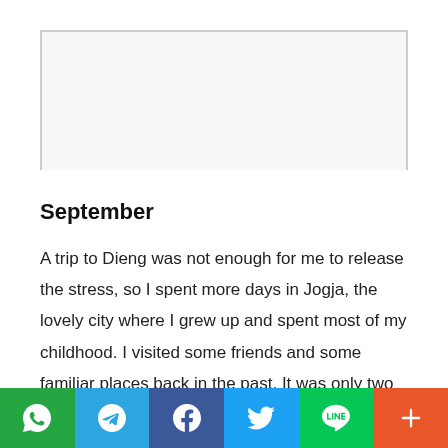[Figure (photo): Partially visible image placeholder at top of page, with gray border on left and right sides]
September
A trip to Dieng was not enough for me to release the stress, so I spent more days in Jogja, the lovely city where I grew up and spent most of my childhood. I visited some friends and some familiar places back in the past. It was only two days but so relaxing. It was time to say goodbye to my 2+ years-old Galaxy S2 and
[Figure (infographic): Social sharing bar with six buttons: WhatsApp (green), Telegram (blue), Facebook (dark blue), Twitter (light blue), LINE (green), and More/Plus (orange-red)]